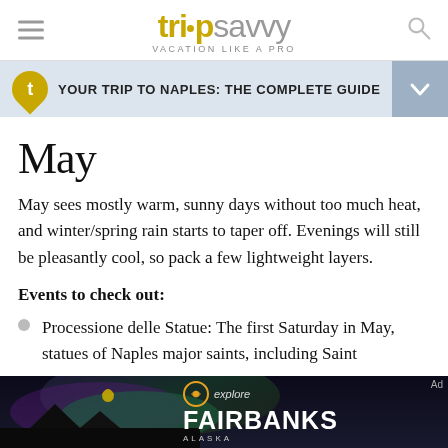trip savvy — VACATION LIKE A PRO
YOUR TRIP TO NAPLES: THE COMPLETE GUIDE
May
May sees mostly warm, sunny days without too much heat, and winter/spring rain starts to taper off. Evenings will still be pleasantly cool, so pack a few lightweight layers.
Events to check out:
Processione delle Statue: The first Saturday in May, statues of Naples major saints, including Saint
[Figure (screenshot): Advertisement banner for Explore Fairbanks Alaska, showing aurora borealis in background with orange/teal explore logo and white FAIRBANKS text]